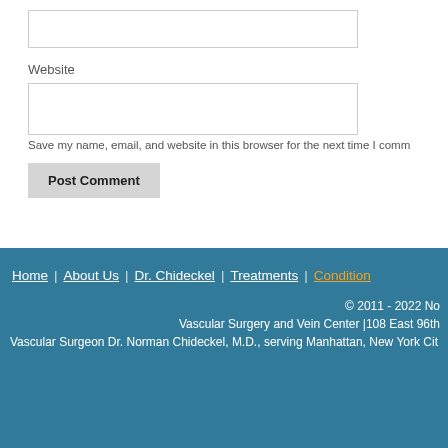Website
Save my name, email, and website in this browser for the next time I comm
Post Comment
Home | About Us | Dr. Chideckel | Treatments | Condition | © 2011 - 2022 No | Vascular Surgery and Vein Center |108 East 96th | Vascular Surgeon Dr. Norman Chideckel, M.D., serving Manhattan, New York Cit